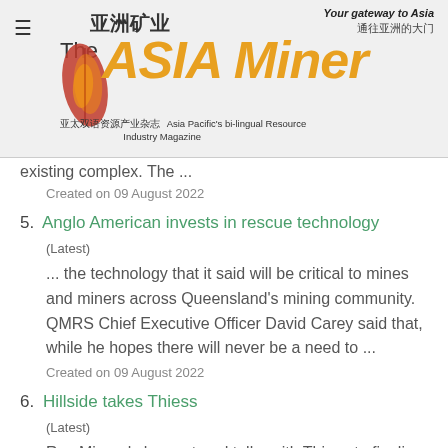The ASIA Miner — 亚洲矿业 — Your gateway to Asia 通往亚洲的大门 — 亚太双语资源产业杂志 Asia Pacific's bi-lingual Resource Industry Magazine
existing complex. The ...
Created on 09 August 2022
5. Anglo American invests in rescue technology
(Latest)
... the technology that it said will be critical to mines and miners across Queensland's mining community. QMRS Chief Executive Officer David Carey said that, while he hopes there will never be a need to ...
Created on 09 August 2022
6. Hillside takes Thiess
(Latest)
Rex Minerals has entered talks with Thiess to finalize a five-year contract for mining ...